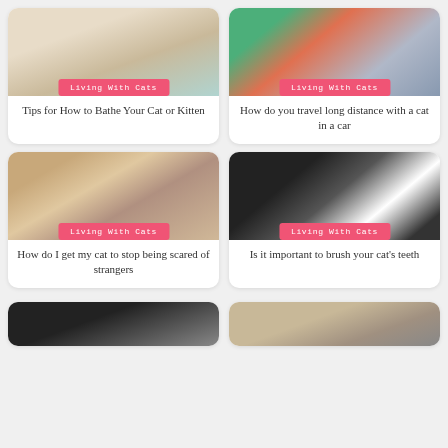[Figure (photo): White cat looking up, bathing scene background]
Living With Cats
Tips for How to Bathe Your Cat or Kitten
[Figure (photo): Person holding a cat wrapped in blanket, traveling]
Living With Cats
How do you travel long distance with a cat in a car
[Figure (photo): Person on floor with scared tabby cat hiding under towel]
Living With Cats
How do I get my cat to stop being scared of strangers
[Figure (photo): Black and white long-haired cat with toothbrush]
Living With Cats
Is it important to brush your cat's teeth
[Figure (photo): Bottom left partially visible cat photo]
[Figure (photo): Bottom right partially visible cat photo]